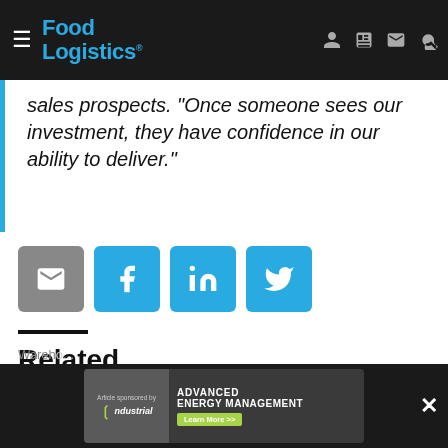Food Logistics
sales prospects. "Once someone sees our investment, they have confidence in our ability to deliver."
[Figure (other): Social sharing buttons: email (gray), Facebook (blue), LinkedIn (blue), Twitter (blue)]
Related
Minnesota Repeals The Warehouse Tax
April 14, 2014
[Figure (other): Advertisement banner: Article sponsored by Ndustrial. Advanced Energy Management. Learn More >>]
Wareh...